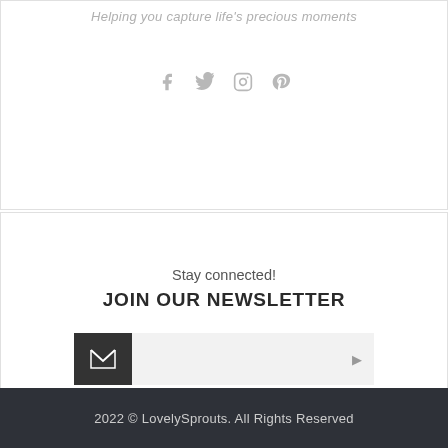Helping you capture life's precious moments
[Figure (illustration): Four social media icons: Facebook, Twitter, Instagram, Pinterest in gray]
Stay connected!
JOIN OUR NEWSLETTER
[Figure (infographic): Email subscription input bar with dark envelope icon on left and arrow button on right]
BE THE FIRST TO HEAR ABOUT UPDATES, NEWS AND SPECIAL OFFERS!
2022 © LovelySprouts. All Rights Reserved